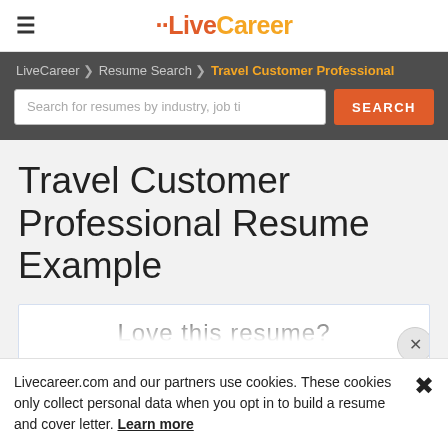≡  LiveCareer
LiveCareer > Resume Search > Travel Customer Professional
[Figure (screenshot): Search bar with placeholder text 'Search for resumes by industry, job ti' and an orange SEARCH button]
Travel Customer Professional Resume Example
[Figure (screenshot): Partially visible resume card with text 'Love this resume?' and a close (x) button]
Livecareer.com and our partners use cookies. These cookies only collect personal data when you opt in to build a resume and cover letter. Learn more